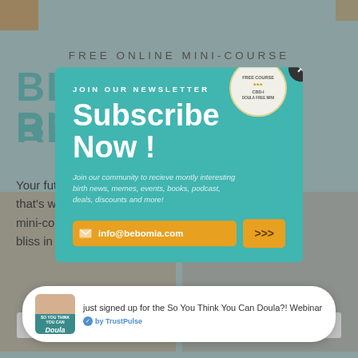[Figure (screenshot): Screenshot of a website with a newsletter subscribe popup overlay. Background shows 'FREE ONLINE MINI-COURSE BLISS IN BUSINESS RETREAT' page with teal/green color scheme. A teal popup reads 'JOIN OUR NEWSLETTER Subscribe Now!' with email info@bebomia.com and arrow button. A TrustPulse notification appears at the bottom.]
FREE ONLINE MINI-COURSE
BLISS IN BUSINESS RETREAT
Your future — that's why mindset mini-course s find bliss in the
JOIN OUR NEWSLETTER
Subscribe Now !
Join our community to recieve montly interesting birth news, memes, events, books, podcast, deals, discounts and more!
info@bebomia.com
just signed up for the So You Think You Can Doula?! Webinar
by TrustPulse